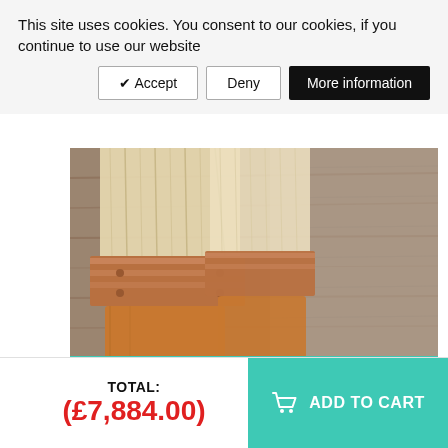This site uses cookies. You consent to our cookies, if you continue to use our website
✔ Accept | Deny | More information
[Figure (photo): Close-up photo of paintbrushes with copper ferrules on a wood grain background]
BUILDING SURFACE TREATMENT
None
Surface treatment outside with oil-based preservant or paint (2 layers, 21-30 m2)   (£2,100.00)
Surface treatment outside and inside with oil-based preservant or paint (2
TOTAL: (£7,884.00)
ADD TO CART